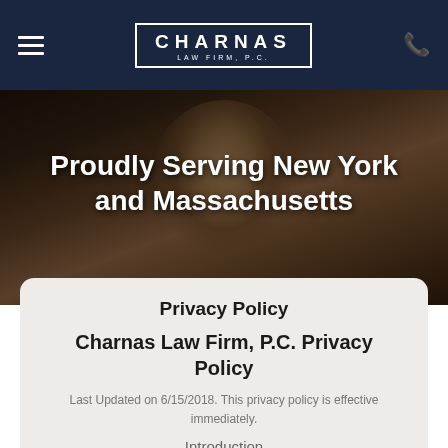CHARNAS LAW FIRM, P.C.
[Figure (photo): Dark background photo of a man with white/grey curly hair wearing a suit, sitting in front of window blinds in an office setting]
Proudly Serving New York and Massachusetts
Privacy Policy
Charnas Law Firm, P.C. Privacy Policy
Last Updated on 6/15/2018. This privacy policy is effective immediately.
Introduction